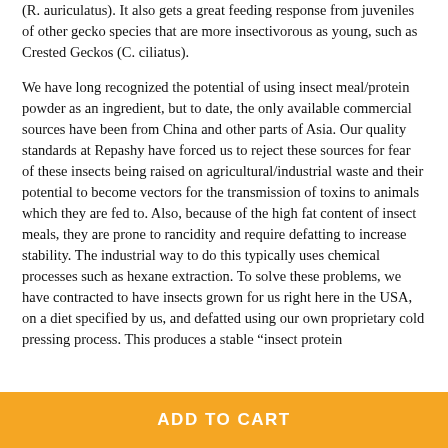(R. auriculatus). It also gets a great feeding response from juveniles of other gecko species that are more insectivorous as young, such as Crested Geckos (C. ciliatus).
We have long recognized the potential of using insect meal/protein powder as an ingredient, but to date, the only available commercial sources have been from China and other parts of Asia. Our quality standards at Repashy have forced us to reject these sources for fear of these insects being raised on agricultural/industrial waste and their potential to become vectors for the transmission of toxins to animals which they are fed to. Also, because of the high fat content of insect meals, they are prone to rancidity and require defatting to increase stability. The industrial way to do this typically uses chemical processes such as hexane extraction. To solve these problems, we have contracted to have insects grown for us right here in the USA, on a diet specified by us, and defatted using our own proprietary cold pressing process. This produces a stable “insect protein
ADD TO CART